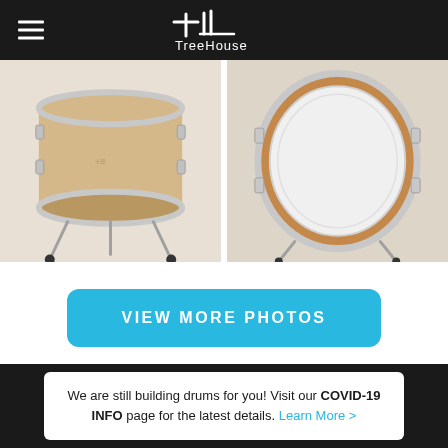TreeHouse Drums navigation header with hamburger menu and logo
[Figure (photo): Natural maple finish floor tom drum on stand, front view, white background]
[Figure (photo): Brown/tan finish bass drum on stand, front view, white background]
VIEW MORE PHOTOS
We are still building drums for you! Visit our COVID-19 INFO page for the latest details. Learn More >